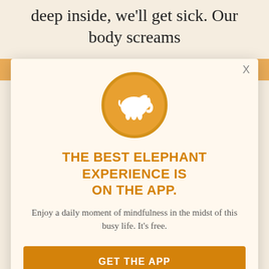deep inside, we'll get sick. Our body screams
at us until we have no choice but to listen. This, I believe, is why we humans get sick most of the time. why we get headaches, and stomach ies, and even cancer.
[Figure (logo): Elephant Journal app logo: white elephant silhouette on orange circle]
THE BEST ELEPHANT EXPERIENCE IS ON THE APP.
Enjoy a daily moment of mindfulness in the midst of this busy life. It's free.
GET THE APP
OPEN IN APP